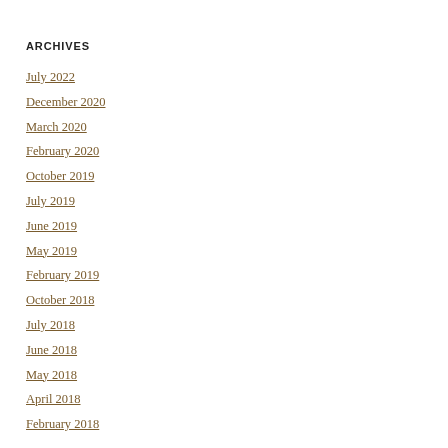ARCHIVES
July 2022
December 2020
March 2020
February 2020
October 2019
July 2019
June 2019
May 2019
February 2019
October 2018
July 2018
June 2018
May 2018
April 2018
February 2018